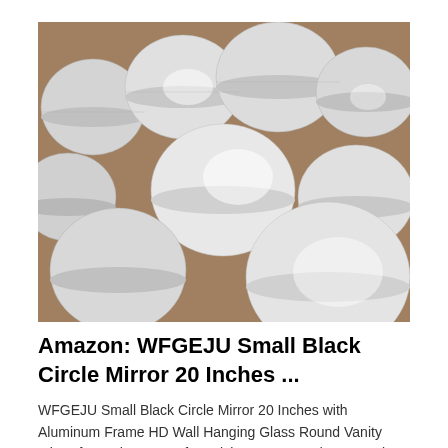[Figure (photo): Photograph of multiple stacks of shiny aluminum circular discs/blanks packed together, viewed from above at an angle. The discs are silver/metallic in color with reflective surfaces showing light streaks.]
Amazon: WFGEJU Small Black Circle Mirror 20 Inches ...
WFGEJU Small Black Circle Mirror 20 Inches with Aluminum Frame HD Wall Hanging Glass Round Vanity Mirror for Bathroom, Before Living Room, Bedroom, Main the WFGEJU...